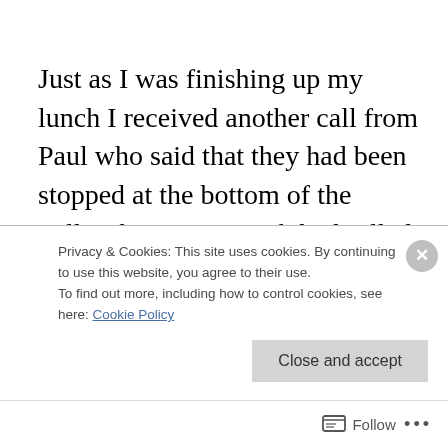Just as I was finishing up my lunch I received another call from Paul who said that they had been stopped at the bottom of the Gillies because a truck had rolled over and Police were stopping access for those attempting to go both up and down. He advised me that they would be taking the Kuranda Range now and would see me in a couple of hours just as torrential rain began to pour in Yungaburra. What the hell was I going to do for 2+ hours
Privacy & Cookies: This site uses cookies. By continuing to use this website, you agree to their use.
To find out more, including how to control cookies, see here: Cookie Policy
Close and accept
Follow ···